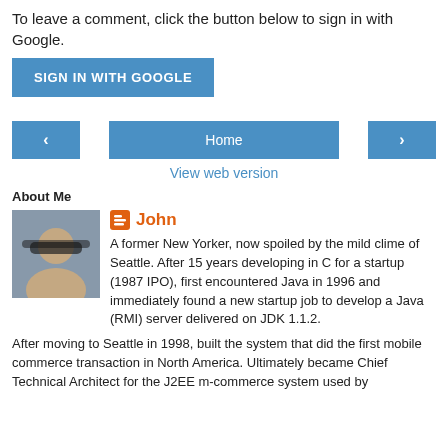To leave a comment, click the button below to sign in with Google.
[Figure (other): Blue 'SIGN IN WITH GOOGLE' button]
[Figure (other): Navigation row with left arrow button, Home button, and right arrow button]
View web version
About Me
[Figure (photo): Profile photo of John — man with sunglasses, dark hair]
John
A former New Yorker, now spoiled by the mild clime of Seattle. After 15 years developing in C for a startup (1987 IPO), first encountered Java in 1996 and immediately found a new startup job to develop a Java (RMI) server delivered on JDK 1.1.2.
After moving to Seattle in 1998, built the system that did the first mobile commerce transaction in North America. Ultimately became Chief Technical Architect for the J2EE m-commerce system used by...